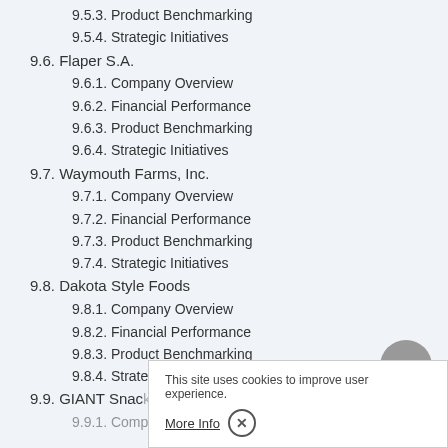9.5.3. Product Benchmarking
9.5.4. Strategic Initiatives
9.6. Flaper S.A.
9.6.1. Company Overview
9.6.2. Financial Performance
9.6.3. Product Benchmarking
9.6.4. Strategic Initiatives
9.7. Waymouth Farms, Inc.
9.7.1. Company Overview
9.7.2. Financial Performance
9.7.3. Product Benchmarking
9.7.4. Strategic Initiatives
9.8. Dakota Style Foods
9.8.1. Company Overview
9.8.2. Financial Performance
9.8.3. Product Benchmarking
9.8.4. Strategic Initiatives
9.9. GIANT Snac...
9.9.1. Company Overview